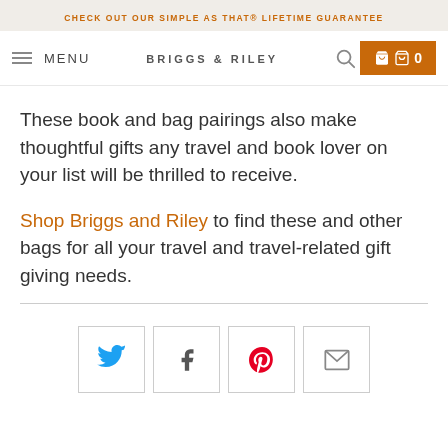CHECK OUT OUR SIMPLE AS THAT® LIFETIME GUARANTEE
MENU  BRIGGS & RILEY  [search] [cart 0]
These book and bag pairings also make thoughtful gifts any travel and book lover on your list will be thrilled to receive.
Shop Briggs and Riley to find these and other bags for all your travel and travel-related gift giving needs.
[Figure (infographic): Social share buttons: Twitter (blue bird icon), Facebook (f icon), Pinterest (red P icon), Email (envelope icon), each in a square bordered button]